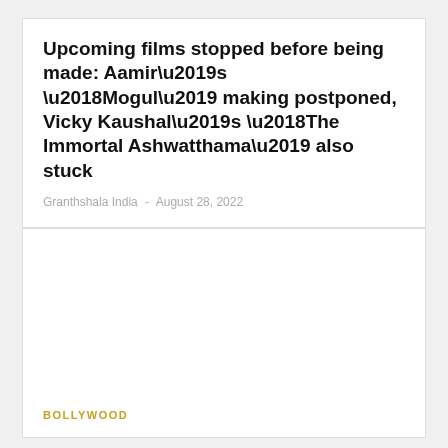Upcoming films stopped before being made: Aamir’s ‘Mogul’ making postponed, Vicky Kaushal’s ‘The Immortal Ashwatthama’ also stuck
Granthshala India  -  August 28, 2022
BOLLYWOOD